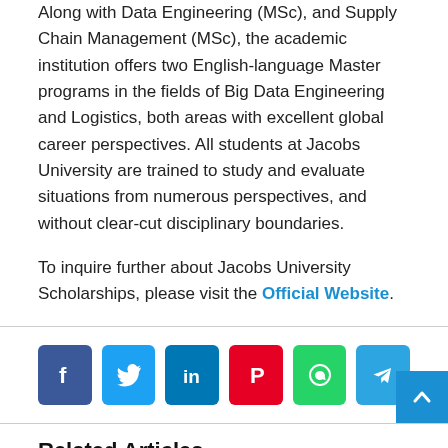Along with Data Engineering (MSc), and Supply Chain Management (MSc), the academic institution offers two English-language Master programs in the fields of Big Data Engineering and Logistics, both areas with excellent global career perspectives. All students at Jacobs University are trained to study and evaluate situations from numerous perspectives, and without clear-cut disciplinary boundaries.
To inquire further about Jacobs University Scholarships, please visit the Official Website.
[Figure (other): Social sharing buttons: Facebook, Twitter, LinkedIn, Pinterest, WhatsApp, Telegram]
Related Articles